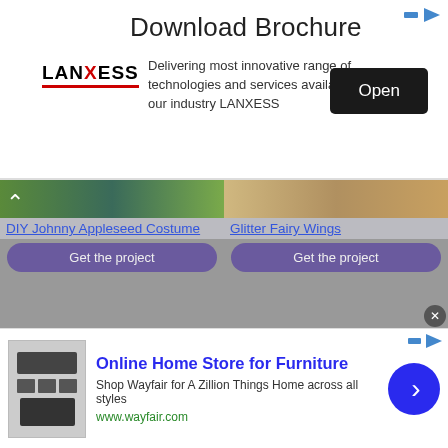[Figure (screenshot): LANXESS advertisement banner: Download Brochure with Open button]
[Figure (screenshot): DIY Johnny Appleseed Costume craft project thumbnail with Get the project button]
[Figure (screenshot): Glitter Fairy Wings craft project thumbnail with Get the project button]
[Figure (screenshot): Recycled Bottle Witch Broom craft project thumbnail with Get the project button and video overlay showing How to Make Washcloth Bunnies]
[Figure (screenshot): Cardboard Box Train Costume craft project thumbnail with Get the project button]
[Figure (screenshot): Wayfair Online Home Store for Furniture advertisement banner]